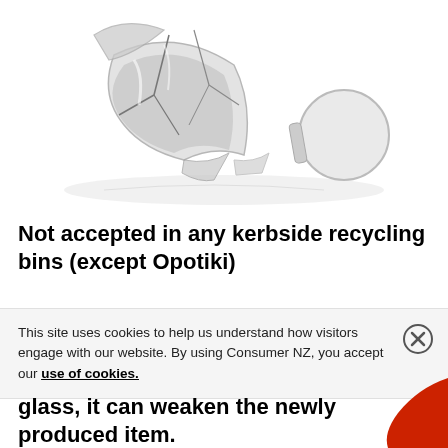[Figure (photo): A broken wine glass lying on its side on a white background, with the bowl shattered into pieces and the stem and base separated.]
Not accepted in any kerbside recycling bins (except Opotiki)
This site uses cookies to help us understand how visitors engage with our website. By using Consumer NZ, you accept our use of cookies.
glass, it can weaken the newly produced item.